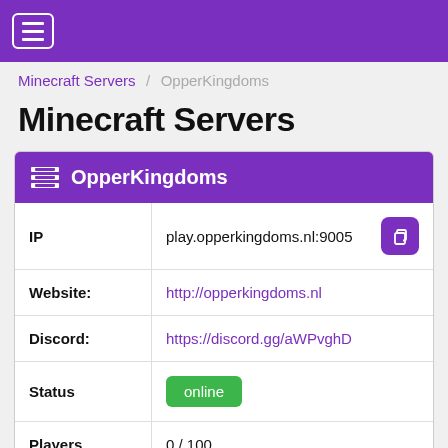≡ (navigation menu)
Minecraft Servers / OpperKingdoms
Minecraft Servers
| Field | Value |
| --- | --- |
| IP | play.opperkingdoms.nl:9005 |
| Website: | http://opperkingdoms.nl |
| Discord: | https://discord.gg/aWPvghD |
| Status | online |
| Players | 0 / 100 |